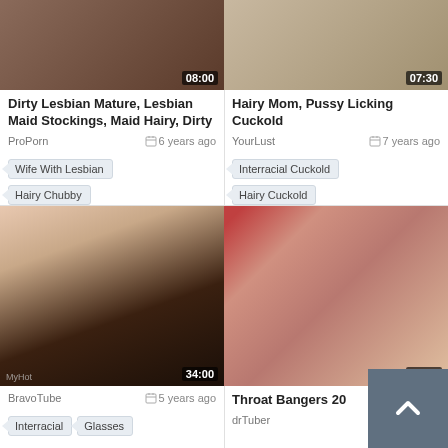[Figure (screenshot): Video thumbnail top-left: dark tones, 08:00 duration]
[Figure (screenshot): Video thumbnail top-right: beige/skin tones, 07:30 duration]
Dirty Lesbian Mature, Lesbian Maid Stockings, Maid Hairy, Dirty
Hairy Mom, Pussy Licking Cuckold
ProPorn   6 years ago
YourLust   7 years ago
Wife With Lesbian
Interracial Cuckold
Hairy Chubby
Hairy Cuckold
[Figure (screenshot): Video thumbnail bottom-left: close-up explicit content, 34:00 duration, MyHot watermark]
[Figure (screenshot): Video thumbnail bottom-right: explicit content, 02:00 duration]
Throat Bangers 20
BravoTube   5 years ago
drTuber   8 years ago
Interracial
Glasses